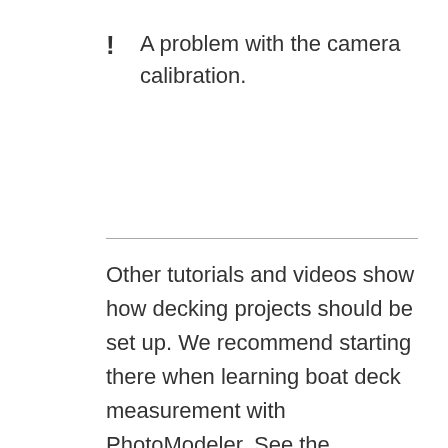A problem with the camera calibration.
Other tutorials and videos show how decking projects should be set up. We recommend starting there when learning boat deck measurement with PhotoModeler. See the Learning Boat Deck Measurement page for the learning resources.